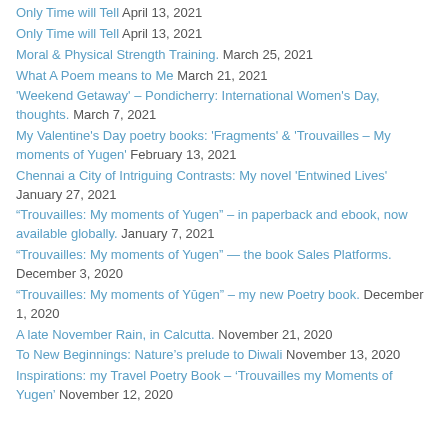Only Time will Tell April 13, 2021
Only Time will Tell April 13, 2021
Moral & Physical Strength Training. March 25, 2021
What A Poem means to Me March 21, 2021
'Weekend Getaway' – Pondicherry: International Women's Day, thoughts. March 7, 2021
My Valentine's Day poetry books: 'Fragments' & 'Trouvailles – My moments of Yugen' February 13, 2021
Chennai a City of Intriguing Contrasts: My novel 'Entwined Lives' January 27, 2021
“Trouvailles: My moments of Yugen” – in paperback and ebook, now available globally. January 7, 2021
“Trouvailles: My moments of Yugen” — the book Sales Platforms. December 3, 2020
“Trouvailles: My moments of Yūgen” – my new Poetry book. December 1, 2020
A late November Rain, in Calcutta. November 21, 2020
To New Beginnings: Nature’s prelude to Diwali November 13, 2020
Inspirations: my Travel Poetry Book – ‘Trouvailles my Moments of Yugen’ November 12, 2020